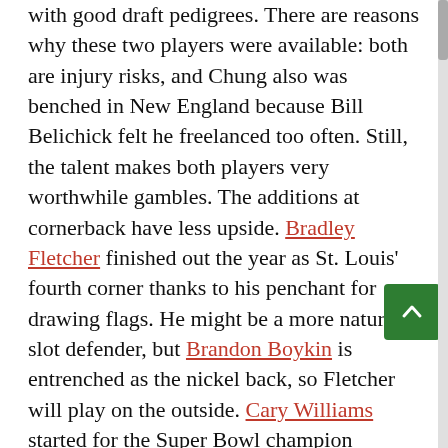with good draft pedigrees. There are reasons why these two players were available: both are injury risks, and Chung also was benched in New England because Bill Belichick felt he freelanced too often. Still, the talent makes both players very worthwhile gambles. The additions at cornerback have less upside. Bradley Fletcher finished out the year as St. Louis' fourth corner thanks to his penchant for drawing flags. He might be a more natural slot defender, but Brandon Boykin is entrenched as the nickel back, so Fletcher will play on the outside. Cary Williams started for the Super Bowl champion Ravens, where he gave up a ton of completions by playing soft on any kind of comeback route. The one thing Williams does exceptionally well, though, is tackle -- he missed a grand total of three tackles in the last two years. And as noted before, that's a talent that was sorely missing from the Eagles' secondary.